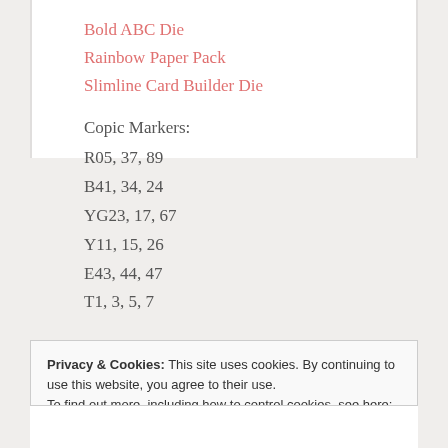Bold ABC Die
Rainbow Paper Pack
Slimline Card Builder Die
Copic Markers:
R05, 37, 89
B41, 34, 24
YG23, 17, 67
Y11, 15, 26
E43, 44, 47
T1, 3, 5, 7
Privacy & Cookies: This site uses cookies. By continuing to use this website, you agree to their use.
To find out more, including how to control cookies, see here: Cookie Policy
Close and accept